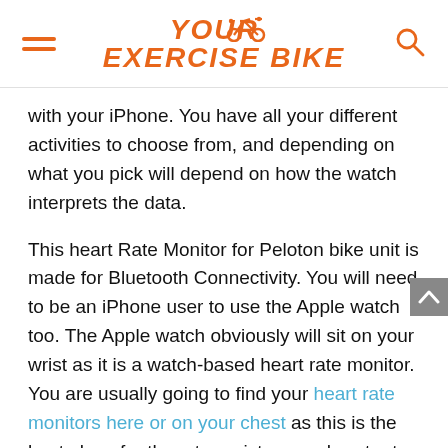YOUR EXERCISE BIKE
with your iPhone. You have all your different activities to choose from, and depending on what you pick will depend on how the watch interprets the data.
This heart Rate Monitor for Peloton bike unit is made for Bluetooth Connectivity. You will need to be an iPhone user to use the Apple watch too. The Apple watch obviously will sit on your wrist as it is a watch-based heart rate monitor. You are usually going to find your heart rate monitors here or on your chest as this is the best place for them to register your heart rate, but they can be found in other areas.